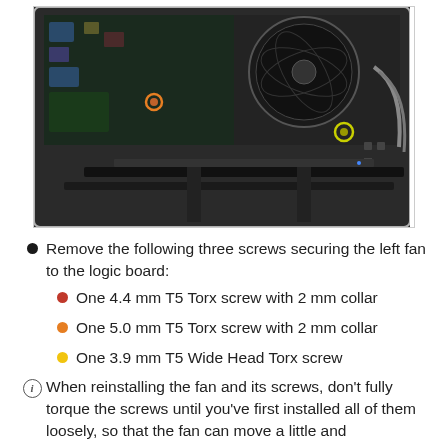[Figure (photo): Overhead photo of an open MacBook Pro showing the internal logic board with a cooling fan, heatsink, and various components visible. Screws are highlighted with colored circles.]
Remove the following three screws securing the left fan to the logic board:
One 4.4 mm T5 Torx screw with 2 mm collar
One 5.0 mm T5 Torx screw with 2 mm collar
One 3.9 mm T5 Wide Head Torx screw
When reinstalling the fan and its screws, don't fully torque the screws until you've first installed all of them loosely, so that the fan can move a little and